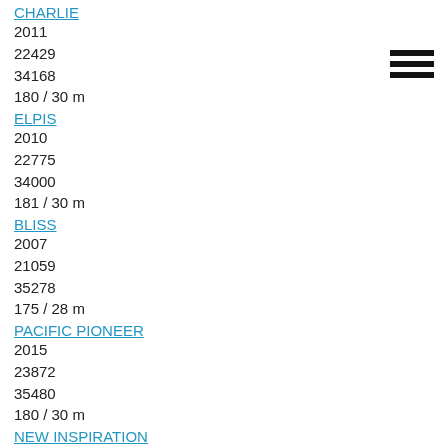CHARLIE
2011
22429
34168
180 / 30 m
ELPIS
2010
22775
34000
181 / 30 m
BLISS
2007
21059
35278
175 / 28 m
PACIFIC PIONEER
2015
23872
35480
180 / 30 m
NEW INSPIRATION
2013
21796
36334
177 / 29 m
SALDANHA BAY
2015
21801